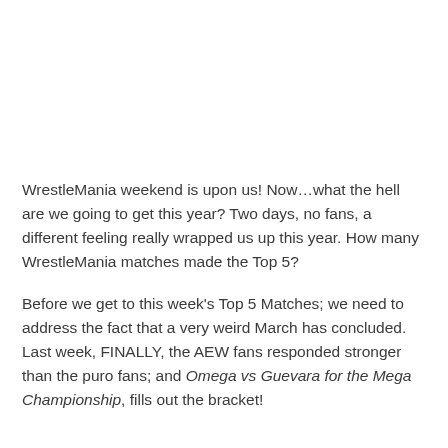WrestleMania weekend is upon us! Now…what the hell are we going to get this year? Two days, no fans, a different feeling really wrapped us up this year. How many WrestleMania matches made the Top 5?
Before we get to this week's Top 5 Matches; we need to address the fact that a very weird March has concluded. Last week, FINALLY, the AEW fans responded stronger than the puro fans; and Omega vs Guevara for the Mega Championship, fills out the bracket!